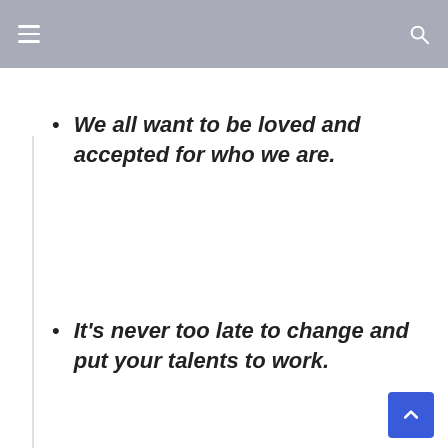We all want to be loved and accepted for who we are.
It's never too late to change and put your talents to work.